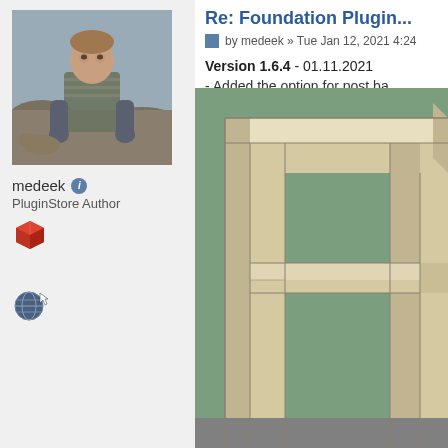[Figure (photo): Profile photo of user medeek - a man crouching outdoors]
medeek ℹ
PluginStore Author
[Figure (illustration): Red 3D box/package icon]
[Figure (illustration): Globe with cursor icon]
Re: Foundation Plugin...
by medeek » Tue Jan 12, 2021 4:24
Version 1.6.4 - 01.11.2021
- Added the option for post ba...
[Figure (illustration): 3D SketchUp-style rendering of a wooden post base/frame structure on a green background]